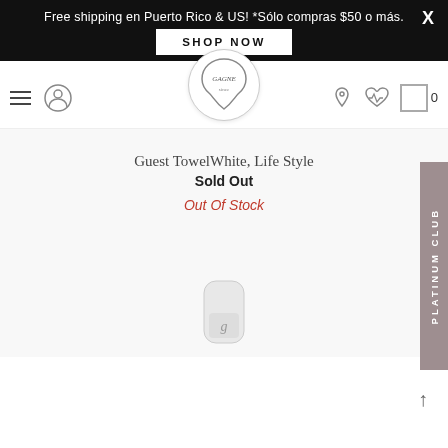Free shipping en Puerto Rico & US! *Sólo compras $50 o más.
SHOP NOW
[Figure (logo): Circular brand logo with decorative border and text 'GAGNE' or similar store branding]
Guest TowelWhite, Life Style
Sold Out
Out Of Stock
[Figure (photo): Partially visible product image at bottom of page, appears to be a white/grey tube or container with a 'g' logo]
PLATINUM CLUB